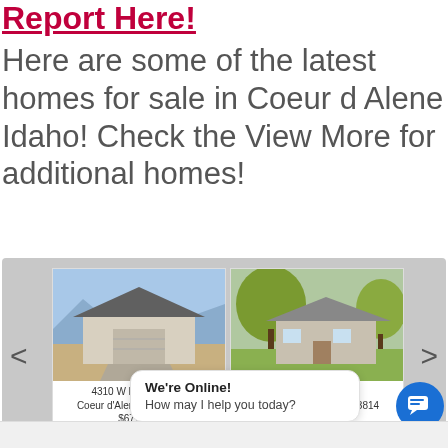Report Here!
Here are some of the latest homes for sale in Coeur d Alene Idaho!  Check the View More for additional homes!
[Figure (photo): Carousel of home listings showing two houses for sale in Coeur d'Alene, Idaho. Left card: 4310 W Enclave Way, Coeur d'Alene, Idaho 83815, $677,900. Right card: 412 S 12TH ST, Coeur d'Alene, Idaho 83814, $1,200,000.]
4310 W Enclave Way
Coeur d'Alene, Idaho 83815
$677,900
412 S 12TH ST
Coeur d'Alene, Idaho 83814
$1,200,000
View All Results
We're Online!
How may I help you today?